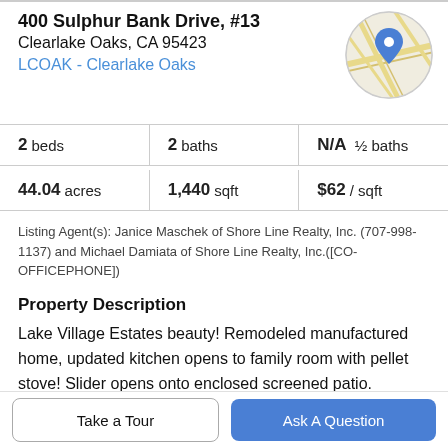400 Sulphur Bank Drive, #13
Clearlake Oaks, CA 95423
LCOAK - Clearlake Oaks
[Figure (map): Circular map thumbnail showing street map with a blue location pin marker]
| beds | baths | ½ baths | acres | sqft | / sqft |
| --- | --- | --- | --- | --- | --- |
| 2 beds | 2 baths | N/A ½ baths |
| 44.04 acres | 1,440 sqft | $62 / sqft |
Listing Agent(s): Janice Maschek of Shore Line Realty, Inc. (707-998-1137) and Michael Damiata of Shore Line Realty, Inc.([CO-OFFICEPHONE])
Property Description
Lake Village Estates beauty! Remodeled manufactured home, updated kitchen opens to family room with pellet stove! Slider opens onto enclosed screened patio.